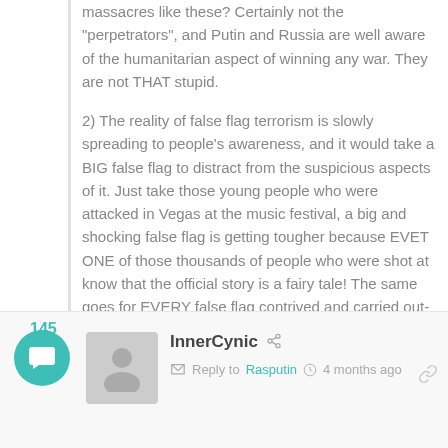massacres like these? Certainly not the "perpetrators", and Putin and Russia are well aware of the humanitarian aspect of winning any war. They are not THAT stupid.
2) The reality of false flag terrorism is slowly spreading to people's awareness, and it would take a BIG false flag to distract from the suspicious aspects of it. Just take those young people who were attacked in Vegas at the music festival, a big and shocking false flag is getting tougher because EVET ONE of those thousands of people who were shot at know that the official story is a fairy tale! The same goes for EVERY false flag contrived and carried out- the collateral damage awakens in people a quest for the truth.
+ 0 — → Reply
[Figure (other): Comment section UI with teal chat bubble icon showing 145, user avatar placeholder, commenter name InnerCynic with share icon, reply to Rasputin, 4 months ago, and link icon]